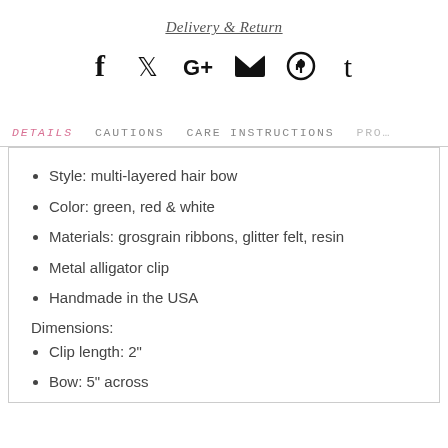Delivery & Return
[Figure (infographic): Social media share icons: Facebook, Twitter, Google+, Email, Pinterest, Tumblr]
DETAILS   CAUTIONS   CARE INSTRUCTIONS   PRO...
Style: multi-layered hair bow
Color: green, red & white
Materials: grosgrain ribbons, glitter felt, resin
Metal alligator clip
Handmade in the USA
Dimensions:
Clip length: 2"
Bow: 5" across